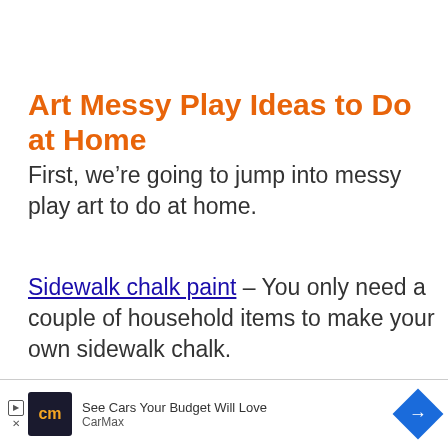Art Messy Play Ideas to Do at Home
First, we’re going to jump into messy play art to do at home.
Sidewalk chalk paint – You only need a couple of household items to make your own sidewalk chalk.
Corn painting – Grab some old corn cobs and paint
[Figure (screenshot): CarMax advertisement banner: dark logo with 'cm' text, 'See Cars Your Budget Will Love', CarMax text, blue diamond arrow icon]